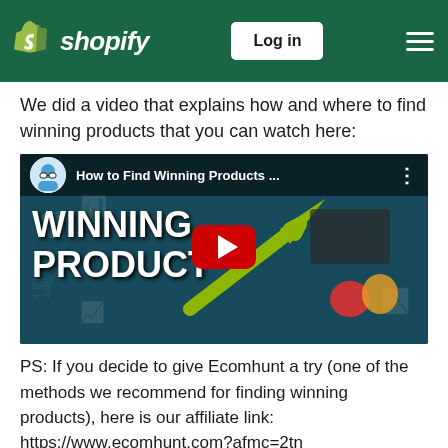[Figure (screenshot): Shopify website header with green background, Shopify logo on left, Log in button in center-right, hamburger menu on far right]
We did a video that explains how and where to find winning products that you can watch here:
[Figure (screenshot): YouTube video thumbnail titled 'How to Find Winning Products ...' with channel avatar, showing 'WINNING PRODUCT' text overlay, green upward arrow, rainbow-colored products, and YouTube play button]
PS: If you decide to give Ecomhunt a try (one of the methods we recommend for finding winning products), here is our affiliate link:
https://www.ecomhunt.com?afmc=2tn